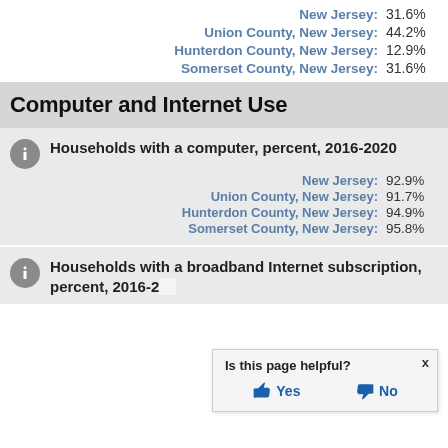New Jersey: 31.6%
Union County, New Jersey: 44.2%
Hunterdon County, New Jersey: 12.9%
Somerset County, New Jersey: 31.6%
Computer and Internet Use
Households with a computer, percent, 2016-2020
New Jersey: 92.9%
Union County, New Jersey: 91.7%
Hunterdon County, New Jersey: 94.9%
Somerset County, New Jersey: 95.8%
Households with a broadband Internet subscription, percent, 2016-2020
Is this page helpful? Yes No